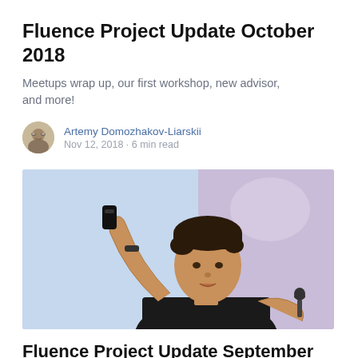Fluence Project Update October 2018
Meetups wrap up, our first workshop, new advisor, and more!
Artemy Domozhakov-Liarskii
Nov 12, 2018 · 6 min read
[Figure (photo): A man in a black t-shirt holding a microphone in one hand and a remote/clicker in the other, speaking at an event. The background is light blue and purple.]
Fluence Project Update September 2018